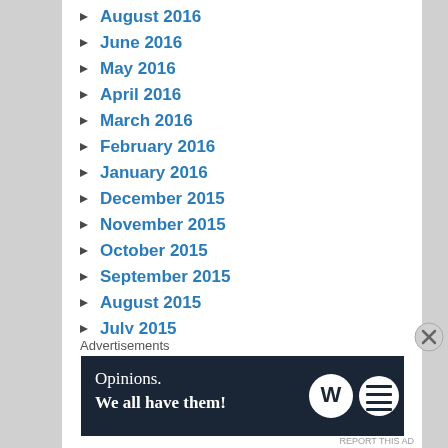August 2016
June 2016
May 2016
April 2016
March 2016
February 2016
January 2016
December 2015
November 2015
October 2015
September 2015
August 2015
July 2015
June 2015
May 2015
April 2015
March 2015
February 2015 (partial)
Advertisements
[Figure (infographic): Advertisements banner: dark navy background, text 'Opinions. We all have them!' with WordPress logo and another circular icon on the right.]